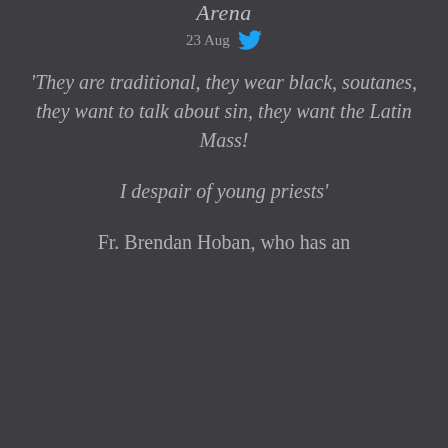Arena
23 Aug
'They are traditional, they wear black, soutanes, they want to talk about sin, they want the Latin Mass!
I despair of young priests'
Fr. Brendan Hoban, who has an